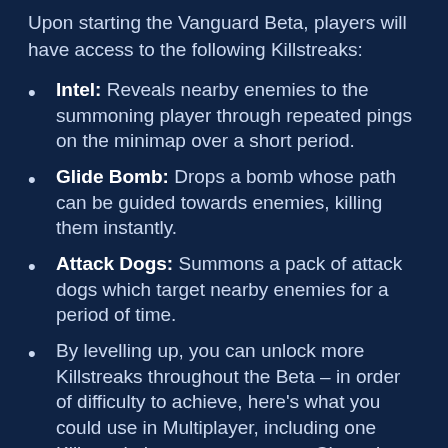Upon starting the Vanguard Beta, players will have access to the following Killstreaks:
Intel: Reveals nearby enemies to the summoning player through repeated pings on the minimap over a short period.
Glide Bomb: Drops a bomb whose path can be guided towards enemies, killing them instantly.
Attack Dogs: Summons a pack of attack dogs which target nearby enemies for a period of time.
By levelling up, you can unlock more Killstreaks throughout the Beta – in order of difficulty to achieve, here's what you could use in Multiplayer, including one Killstreak that you may see on Champion Hill and elsewhere...
Spy Plane: Calls in a spy plane which reveals all enemy positions on the minimap to allies. Can be